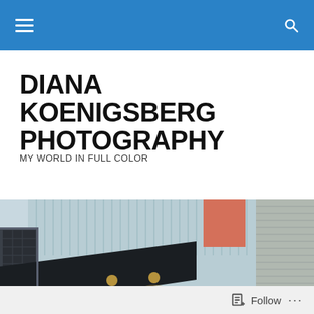Navigation bar with hamburger menu and search icon
DIANA KOENIGSBERG PHOTOGRAPHY
MY WORLD IN FULL COLOR
POSTED IN ECHO PARK
[Figure (photo): Architectural photograph of a building exterior with light blue corrugated metal siding, a diagonal black overhang/awning, a small orange/red accent panel, recessed ceiling lights visible underneath the overhang, and a dark metal grate on the left side. Adjacent building with horizontal wood/composite siding visible on the right.]
Follow ...